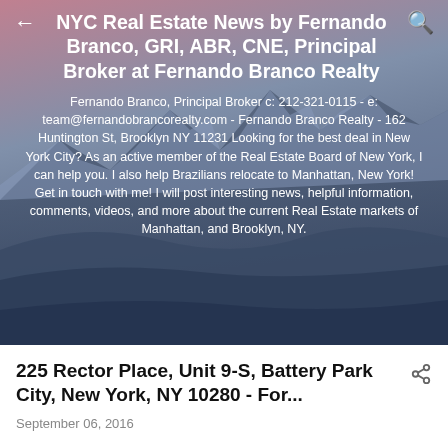NYC Real Estate News by Fernando Branco, GRI, ABR, CNE, Principal Broker at Fernando Branco Realty
Fernando Branco, Principal Broker c: 212-321-0115 - e: team@fernandobrancorealty.com - Fernando Branco Realty - 162 Huntington St, Brooklyn NY 11231 Looking for the best deal in New York City? As an active member of the Real Estate Board of New York, I can help you. I also help Brazilians relocate to Manhattan, New York! Get in touch with me! I will post interesting news, helpful information, comments, videos, and more about the current Real Estate markets of Manhattan, and Brooklyn, NY.
225 Rector Place, Unit 9-S, Battery Park City, New York, NY 10280 - For...
September 06, 2016